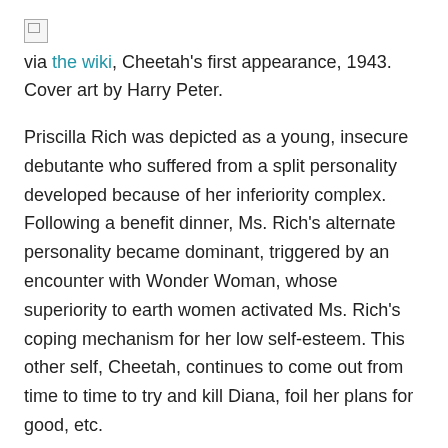[Figure (photo): Broken image icon placeholder]
via the wiki, Cheetah's first appearance, 1943. Cover art by Harry Peter.
Priscilla Rich was depicted as a young, insecure debutante who suffered from a split personality developed because of her inferiority complex. Following a benefit dinner, Ms. Rich's alternate personality became dominant, triggered by an encounter with Wonder Woman, whose superiority to earth women activated Ms. Rich's coping mechanism for her low self-esteem. This other self, Cheetah, continues to come out from time to time to try and kill Diana, foil her plans for good, etc.
I noted with interest in researching her that, in a lot of the panels I read, it seems that Ms. Rich's alter ego, Cheetah, actually hates the Priscilla personality almost as much as